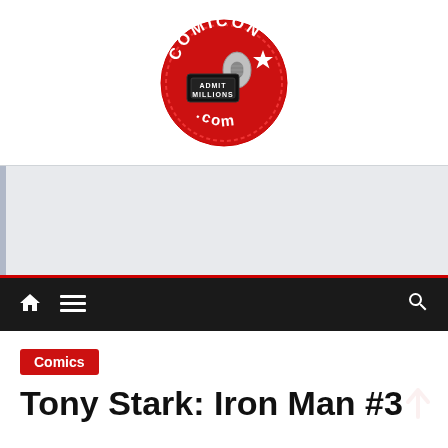[Figure (logo): ComiCon.com circular logo with red background, microphone, ticket reading ADMIT MILLIONS, and star]
[Figure (other): Gray advertisement placeholder banner]
[Figure (other): Dark navigation bar with home icon, hamburger menu icon, and search icon on black background with red top border]
Comics
Tony Stark: Iron Man #3